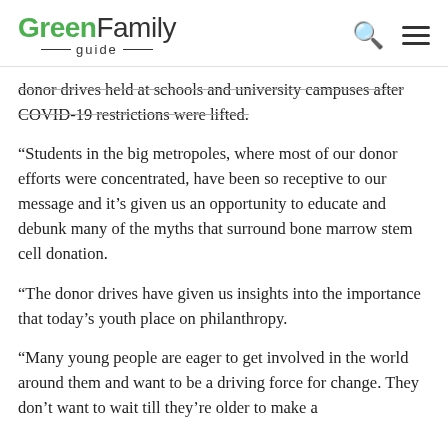Green Family guide
donor drives held at schools and university campuses after COVID-19 restrictions were lifted.
“Students in the big metropoles, where most of our donor efforts were concentrated, have been so receptive to our message and it’s given us an opportunity to educate and debunk many of the myths that surround bone marrow stem cell donation.
“The donor drives have given us insights into the importance that today’s youth place on philanthropy.
“Many young people are eager to get involved in the world around them and want to be a driving force for change. They don’t want to wait till they’re older to make a